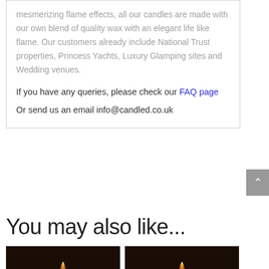mesmerizing flame effects, all our candles are made with our own blend of quality wax with an elegant life like flame. Our customers already include National Trust properties, Princess Yachts, Luxury Glamping sites and Wedding venues.
If you have any queries, please check our FAQ page
Or send us an email info@candled.co.uk
You may also like...
[Figure (photo): Dark background photo of a candle flame, left thumbnail]
[Figure (photo): Dark background photo of a candle flame, right thumbnail]